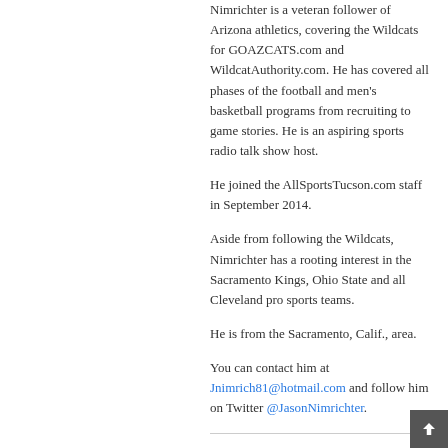Nimrichter is a veteran follower of Arizona athletics, covering the Wildcats for GOAZCATS.com and WildcatAuthority.com. He has covered all phases of the football and men's basketball programs from recruiting to game stories. He is an aspiring sports radio talk show host.
He joined the AllSportsTucson.com staff in September 2014.
Aside from following the Wildcats, Nimrichter has a rooting interest in the Sacramento Kings, Ohio State and all Cleveland pro sports teams.
He is from the Sacramento, Calif., area.
You can contact him at Jnimrich81@hotmail.com and follow him on Twitter @JasonNimrichter.
ALEC SILLS-TRAUSCH